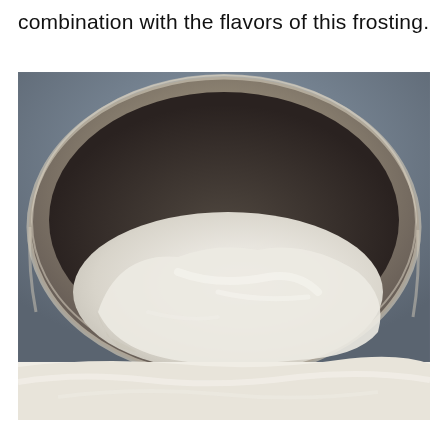combination with the flavors of this frosting.
[Figure (photo): Overhead view of a large stainless steel mixing bowl containing white creamy frosting, photographed against a gray textured background. A second partial photo is visible at the very bottom of the page showing a close-up of white frosting.]